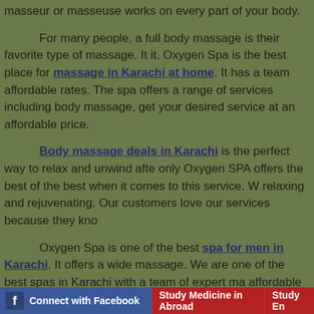masseur or masseuse works on every part of your body.
For many people, a full body massage is their favorite type of massage. It. Oxygen Spa is the best place for massage in Karachi at home. It has a team affordable rates. The spa offers a range of services including body massage, get your desired service at an affordable price.
Body massage deals in Karachi is the perfect way to relax and unwind after only Oxygen SPA offers the best of the best when it comes to this service. W relaxing and rejuvenating. Our customers love our services because they kno
Oxygen Spa is one of the best spa for men in Karachi. It offers a wide massage. We are one of the best spas in Karachi with a team of expert mas affordable prices. Full Body Massage Services in Karachi Oxygen SPA is on able to provide a variety of massage treatments for customers. Oxygen SPA of massages for clients with their cheap rates.
Oxygen Spa is the best Body to Body Massage in Karachi. We offer F experienced and best in the industry. We offer you a full range of massage variety of spa packages that include a range of different massages. Our pack budget. Oxygen SPA is the best place to get full body massage in Karachi. Th
Connect with Facebook  |  Study Medicine in Abroad  |  Study En